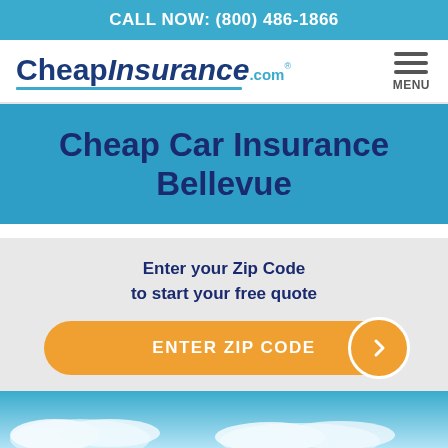CALL NOW: (800) 486-1866
[Figure (logo): CheapInsurance.com logo with blue text and teal underline]
Cheap Car Insurance Bellevue
Enter your Zip Code to start your free quote
[Figure (other): Orange ENTER ZIP CODE button with arrow circle]
[Figure (photo): Blue sky with clouds at bottom of page]